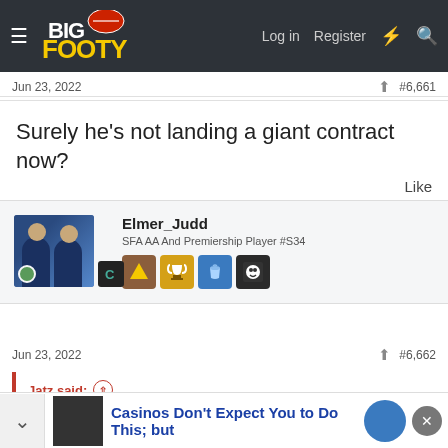BigFooty — Log in  Register
Jun 23, 2022  #6,661
Surely he's not landing a giant contract now?
Like
Elmer_Judd
SFA AA And Premiership Player #S34
Jun 23, 2022  #6,662
Jatz said:
Casinos Don't Expect You to Do This; but